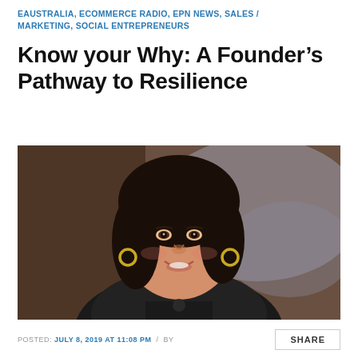EAUSTRALIA, ECOMMERCE RADIO, EPN NEWS, SALES / MARKETING, SOCIAL ENTREPRENEURS
Know your Why: A Founder’s Pathway to Resilience
[Figure (photo): Portrait photo of a smiling woman with dark hair, wearing hoop earrings and a dark jacket, photographed against a blurred indoor background.]
POSTED: JULY 8, 2019 AT 11:08 PM  /  BY